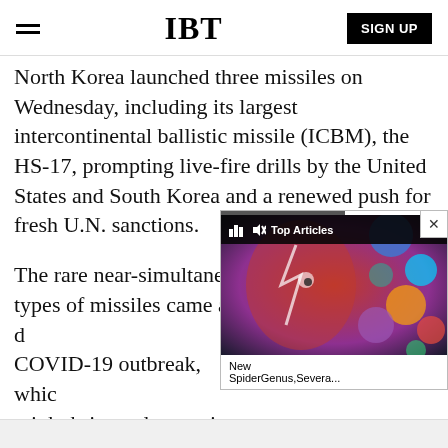IBT | SIGN UP
North Korea launched three missiles on Wednesday, including its largest intercontinental ballistic missile (ICBM), the HS-17, prompting live-fire drills by the United States and South Korea and a renewed push for fresh U.N. sanctions.
The rare near-simultaneous launch of multiple types of missiles came amid the d... COVID-19 outbreak, which... might bring a devastating c... people.
[Figure (screenshot): Video widget overlay showing a colorful artistic image with 'Top Articles' bar and text 'New SpiderGenus,Severa...' with a close X button]